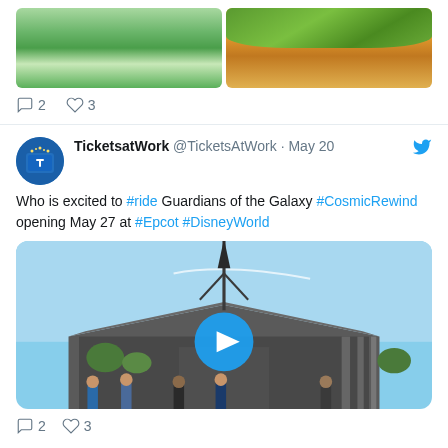[Figure (screenshot): Top portion of a tweet showing two photos: a garden/water scene and a food dish with green garnish]
2  3
[Figure (screenshot): Tweet from TicketsatWork @TicketsAtWork · May 20: Who is excited to #ride Guardians of the Galaxy #CosmicRewind opening May 27 at #Epcot #DisneyWorld, with a video thumbnail of the Guardians of the Galaxy: Cosmic Rewind attraction building at EPCOT with a play button overlay]
2  3